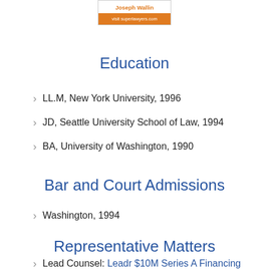[Figure (other): Super Lawyers badge showing 'Joseph Wallin' and 'visit superlawyers.com']
Education
LL.M, New York University, 1996
JD, Seattle University School of Law, 1994
BA, University of Washington, 1990
Bar and Court Admissions
Washington, 1994
Representative Matters
Lead Counsel: Leadr $10M Series A Financing